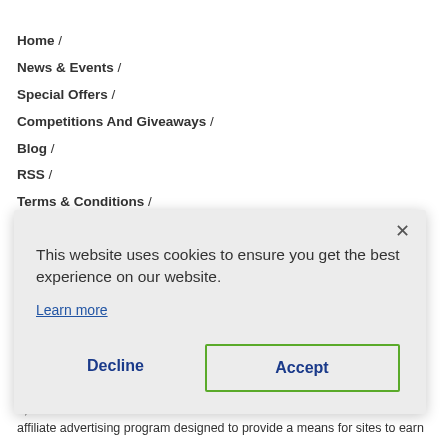Home  /
News & Events  /
Special Offers  /
Competitions And Giveaways  /
Blog  /
RSS  /
Terms & Conditions  /
[Figure (screenshot): Cookie consent modal dialog with close button (×), message 'This website uses cookies to ensure you get the best experience on our website.', a 'Learn more' link, and two buttons: 'Decline' and 'Accept' (Accept has green border).]
n, an affiliate advertising program designed to provide a means for sites to earn